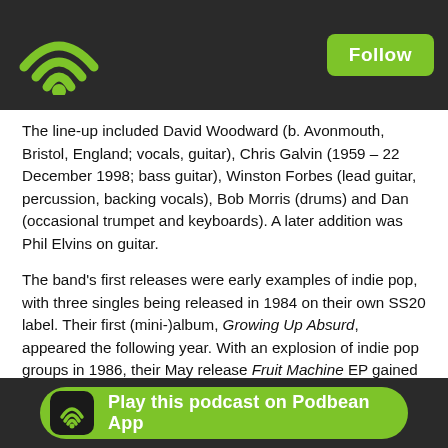Podbean podcast app header with WiFi logo and Follow button
The line-up included David Woodward (b. Avonmouth, Bristol, England; vocals, guitar), Chris Galvin (1959 – 22 December 1998; bass guitar), Winston Forbes (lead guitar, percussion, backing vocals), Bob Morris (drums) and Dan (occasional trumpet and keyboards). A later addition was Phil Elvins on guitar.
The band's first releases were early examples of indie pop, with three singles being released in 1984 on their own SS20 label. Their first (mini-)album, Growing Up Absurd, appeared the following year. With an explosion of indie pop groups in 1986, their May release Fruit Machine EP gained them both attention and radio airplay, followed by a second mini-album, What's In A Word. "Brian Rix", a re-recorded version of a track from the LP, with added trumpet, and a tribute to Rix, the "king of farce", was issued as a single, the proceeds going to Mencap, the charity of which Rix was chairman. The video, featuring Woodward running Rix-like around a couch with his trousers around his ankles, was shown on The Tube, further raising the band's profile.
In March 1... and released th... owed by a collection of...
Play this podcast on Podbean App